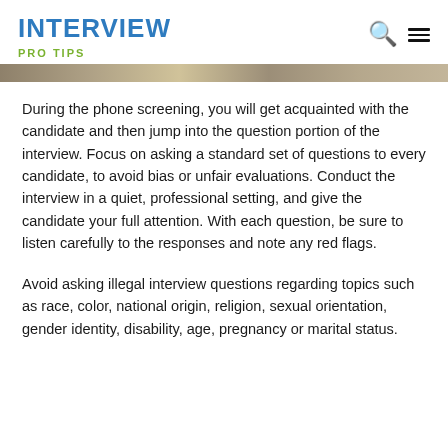INTERVIEW
PRO TIPS
[Figure (photo): Partial photo strip showing a blurred professional scene]
During the phone screening, you will get acquainted with the candidate and then jump into the question portion of the interview. Focus on asking a standard set of questions to every candidate, to avoid bias or unfair evaluations. Conduct the interview in a quiet, professional setting, and give the candidate your full attention. With each question, be sure to listen carefully to the responses and note any red flags.
Avoid asking illegal interview questions regarding topics such as race, color, national origin, religion, sexual orientation, gender identity, disability, age, pregnancy or marital status.